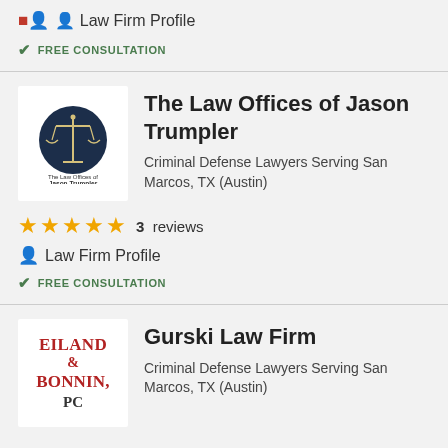Law Firm Profile
FREE CONSULTATION
The Law Offices of Jason Trumpler
Criminal Defense Lawyers Serving San Marcos, TX (Austin)
★★★★★ 3 reviews
Law Firm Profile
FREE CONSULTATION
Gurski Law Firm
Criminal Defense Lawyers Serving San Marcos, TX (Austin)